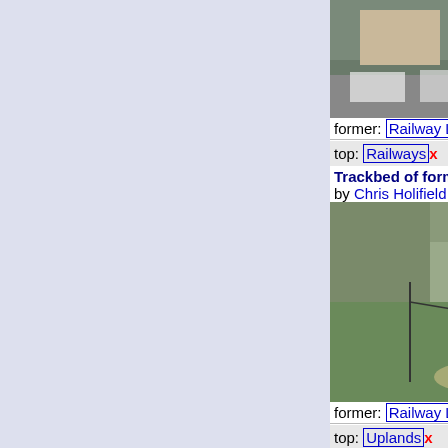[Figure (photo): Road with parked cars and houses, geograph photo]
carried the line across the... (more)
Tags: type: Geograph x   former:
former: Railway Line   form
top: Railways x
Trackbed of former min... by Chris Holifield geograph for square NY3
Wainwright marks this as the "s... Pictorial... (more)
Tags: top: Quarrying, Mining
[Figure (photo): Grassy trackbed with fence and hills, geograph photo]
former: Railway Line   top:
top: Uplands x
Looking east along line near Loanend by Graham geograph for square NT9
The line of a former railway line country road near Loanend.... (m
Tags: near: Berwick-Upon-T
[Figure (photo): Tree-lined former railway path near Loanend, geograph photo]
top: Historic Sites and Artefa
former: Railway Line   top:
Former railway junction by Christine Johnstone